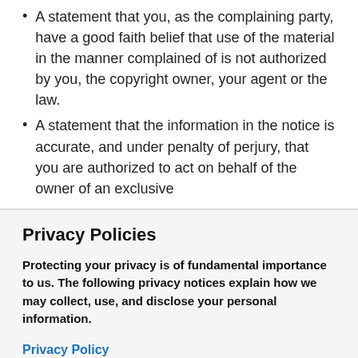A statement that you, as the complaining party, have a good faith belief that use of the material in the manner complained of is not authorized by you, the copyright owner, your agent or the law.
A statement that the information in the notice is accurate, and under penalty of perjury, that you are authorized to act on behalf of the owner of an exclusive
Privacy Policies
Protecting your privacy is of fundamental importance to us. The following privacy notices explain how we may collect, use, and disclose your personal information.
Privacy Policy
Privacy Notice for California Residents
OKAY